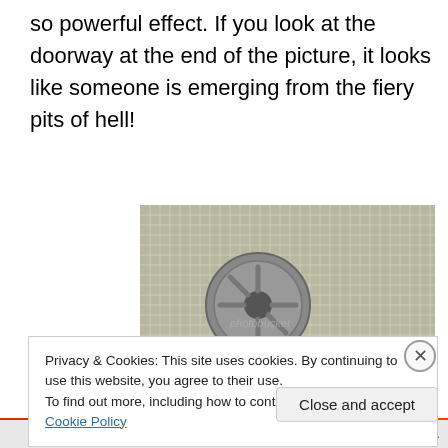so powerful effect. If you look at the doorway at the end of the picture, it looks like someone is emerging from the fiery pits of hell!
[Figure (photo): A toy car wheel/hubcap sitting on a metal grid grate surface, photographed from above. A photobucket watermark is visible in the center of the image.]
Privacy & Cookies: This site uses cookies. By continuing to use this website, you agree to their use.
To find out more, including how to control cookies, see here: Cookie Policy
Close and accept